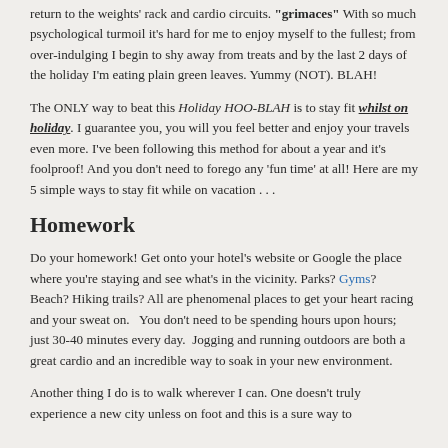return to the weights' rack and cardio circuits. "grimaces" With so much psychological turmoil it's hard for me to enjoy myself to the fullest; from over-indulging I begin to shy away from treats and by the last 2 days of the holiday I'm eating plain green leaves. Yummy (NOT). BLAH!
The ONLY way to beat this Holiday HOO-BLAH is to stay fit whilst on holiday. I guarantee you, you will you feel better and enjoy your travels even more. I've been following this method for about a year and it's foolproof! And you don't need to forego any 'fun time' at all! Here are my 5 simple ways to stay fit while on vacation . . .
Homework
Do your homework! Get onto your hotel's website or Google the place where you're staying and see what's in the vicinity. Parks? Gyms? Beach? Hiking trails? All are phenomenal places to get your heart racing and your sweat on.   You don't need to be spending hours upon hours; just 30-40 minutes every day.  Jogging and running outdoors are both a great cardio and an incredible way to soak in your new environment.
Another thing I do is to walk wherever I can. One doesn't truly experience a new city unless on foot and this is a sure way to